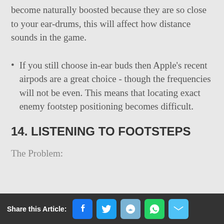become naturally boosted because they are so close to your ear-drums, this will affect how distance sounds in the game.
If you still choose in-ear buds then Apple's recent airpods are a great choice - though the frequencies will not be even. This means that locating exact enemy footstep positioning becomes difficult.
14. LISTENING TO FOOTSTEPS
The Problem:
Share this Article: